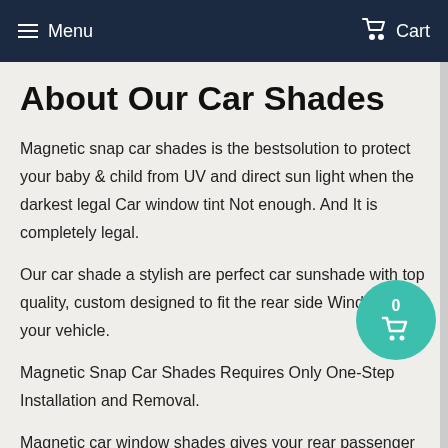Menu   Cart
About Our Car Shades
Magnetic snap car shades is the bestsolution to protect your baby & child from UV and direct sun light when the darkest legal Car window tint Not enough. And It is completely legal.
Our car shade a stylish are perfect car sunshade with top quality, custom designed to fit the rear side Windows of your vehicle.
Magnetic Snap Car Shades Requires Only One-Step Installation and Removal.
Magnetic car window shades gives your rear passenger extra protector for sun and heat.